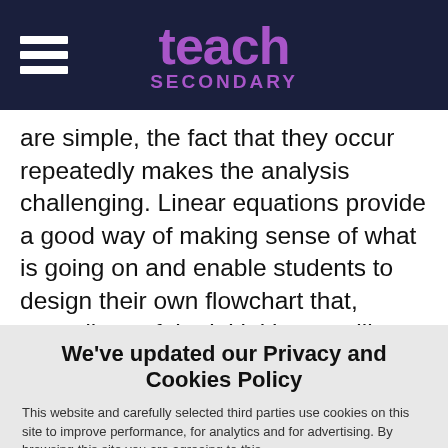teach SECONDARY
are simple, the fact that they occur repeatedly makes the analysis challenging. Linear equations provide a good way of making sense of what is going on and enable students to design their own flowchart that, regardless of the initial input, will produce a string of numbers that converge to
We've updated our Privacy and Cookies Policy
This website and carefully selected third parties use cookies on this site to improve performance, for analytics and for advertising. By browsing this site you are agreeing to this.
For more information see our Privacy and Cookie policy.
✓ OK